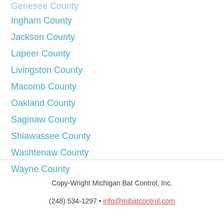Genesee County
Ingham County
Jackson County
Lapeer County
Livingston County
Macomb County
Oakland County
Saginaw County
Shiawassee County
Washtenaw County
Wayne County
Copy-Wright Michigan Bat Control, Inc.
(248) 534-1297 • info@mibatcontrol.com